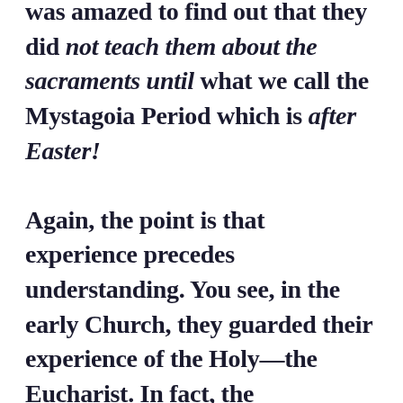was amazed to find out that they did not teach them about the sacraments until what we call the Mystagoia Period which is after Easter! Again, the point is that experience precedes understanding. You see, in the early Church, they guarded their experience of the Holy—the Eucharist. In fact, the catechumens today are still supposed to be dismissed from the assembly after